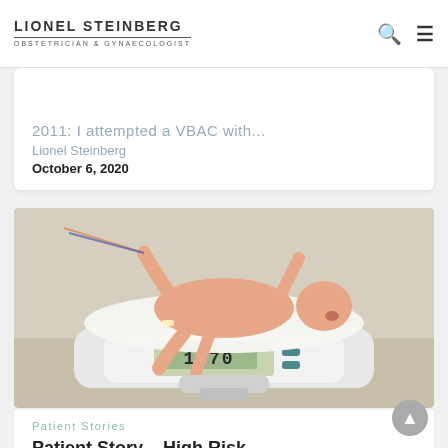LIONEL STEINBERG OBSTETRICIAN & GYNAECOLOGIST
2011: I attempted a VBAC with...
Lionel Steinberg
October 6, 2020
[Figure (photo): Newborn baby lying on a medical scale displaying 1770, wearing hospital wristbands]
Patient Stories
Patient Story – High Risk